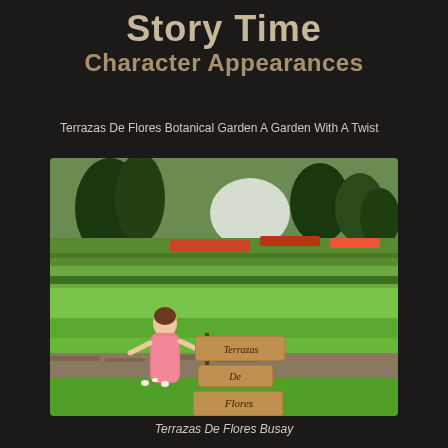Story Time
Character Appearances
Terrazas De Flores Botanical Garden A Garden With A Twist
[Figure (photo): A woman in a pink floral dress standing next to wooden signs reading 'Terrazas De Flores' in a lush botanical garden with terraced flower beds and green lawns]
Terrazas De Flores Busay